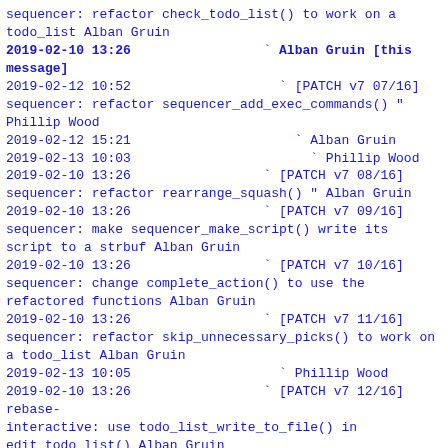sequencer: refactor check_todo_list() to work on a todo_list Alban Gruin
2019-02-10 13:26                 ` Alban Gruin [this message]
2019-02-12 10:52                   ` [PATCH v7 07/16] sequencer: refactor sequencer_add_exec_commands() " Phillip Wood
2019-02-12 15:21                     ` Alban Gruin
2019-02-13 10:03                       ` Phillip Wood
2019-02-10 13:26                 ` [PATCH v7 08/16] sequencer: refactor rearrange_squash() " Alban Gruin
2019-02-10 13:26                 ` [PATCH v7 09/16] sequencer: make sequencer_make_script() write its script to a strbuf Alban Gruin
2019-02-10 13:26                 ` [PATCH v7 10/16] sequencer: change complete_action() to use the refactored functions Alban Gruin
2019-02-10 13:26                 ` [PATCH v7 11/16] sequencer: refactor skip_unnecessary_picks() to work on a todo_list Alban Gruin
2019-02-13 10:05                   ` Phillip Wood
2019-02-10 13:26                 ` [PATCH v7 12/16] rebase-interactive: use todo_list_write_to_file() in edit_todo_list() Alban Gruin
2019-02-10 13:26                 ` [PATCH v7 13/16] rebase-interactive: append_todo_help() changes Alban Gruin
2019-02-10 13:26                 ` [PATCH v7 14/16] rebase-interactive: rewrite edit_todo_list() to handle the initial edit Alban Gruin
2019-02-13 10:10                   ` Phillip Wood